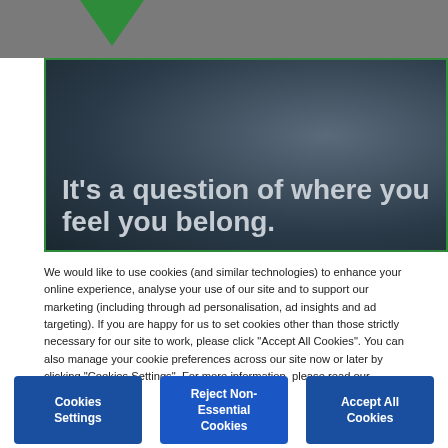[Figure (illustration): Green downward-pointing triangle logo on a grey header background]
[Figure (photo): Dark blue-grey hero image with large white/grey text overlay reading: It’s a question of where you feel you belong. Green border around the image.]
We would like to use cookies (and similar technologies) to enhance your online experience, analyse your use of our site and to support our marketing (including through ad personalisation, ad insights and ad targeting). If you are happy for us to set cookies other than those strictly necessary for our site to work, please click “Accept All Cookies”. You can also manage your cookie preferences across our site now or later by clicking “Cookies Settings”. For more information, please read our  Cookies Policy
Cookies Settings
Reject Non-Essential Cookies
Accept All Cookies